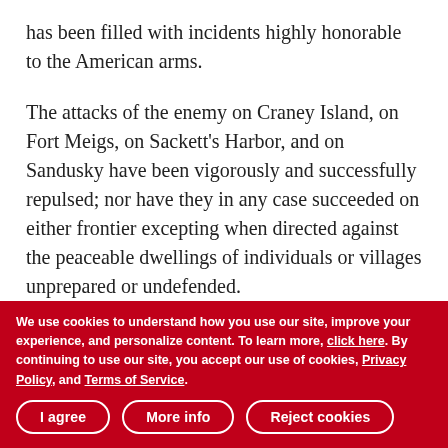has been filled with incidents highly honorable to the American arms.
The attacks of the enemy on Craney Island, on Fort Meigs, on Sackett's Harbor, and on Sandusky have been vigorously and successfully repulsed; nor have they in any case succeeded on either frontier excepting when directed against the peaceable dwellings of individuals or villages unprepared or undefended.
On the other hand, the movements of the American Army have been followed by the reduction of York, and of Forts George, Erie, and Malden; by the recovery of Detroit and the extinction of the Indian war in the West, and by the
We use cookies to understand how you use our site, improve your experience, and personalize content. To learn more, click here. By continuing to use our site, you accept our use of cookies, Privacy Policy, and Terms of Service.